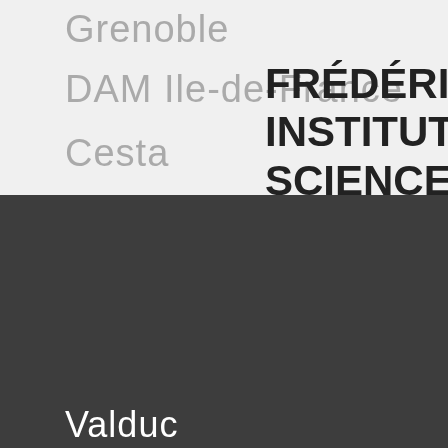Grenoble
DAM Ile-de-France
Cesta
FRÉDÉRIC JOL INSTITUTE FOR SCIENCES
Valduc
[Figure (other): Home navigation icon with slash breadcrumb separator]
Gramat
Le Ripault
[Figure (other): Scroll-to-top circular button with upward chevron arrow]